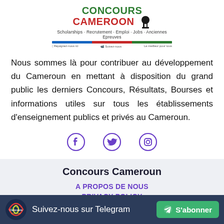[Figure (logo): Concours Cameroon logo with text 'Scholarships · Recrutement · Emploi · Jobs · Anciennes Epreuves' and colored bar]
Nous sommes là pour contribuer au développement du Cameroun en mettant à disposition du grand public les derniers Concours, Résultats, Bourses et informations utiles sur tous les établissements d'enseignement publics et privés au Cameroun.
[Figure (infographic): Social media icons: Facebook, Twitter, Instagram in purple]
Concours Cameroun
A PROPOS DE NOUS
PRIVACY POLICY
Suivez-nous sur Telegram  S'abonner